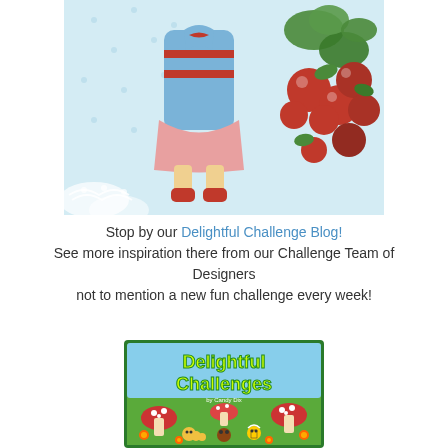[Figure (illustration): Colored illustration of a cartoon girl in a blue coat and red shoes standing next to red berries/strawberries on a light blue dotted background with lace trim at the bottom left.]
Stop by our Delightful Challenge Blog! See more inspiration there from our Challenge Team of Designers not to mention a new fun challenge every week!
[Figure (illustration): Logo/banner image for 'Delightful Challenges' featuring cartoon mushrooms, flowers, and small animal characters (bee, ladybug, etc.) in an autumn scene with green grass.]